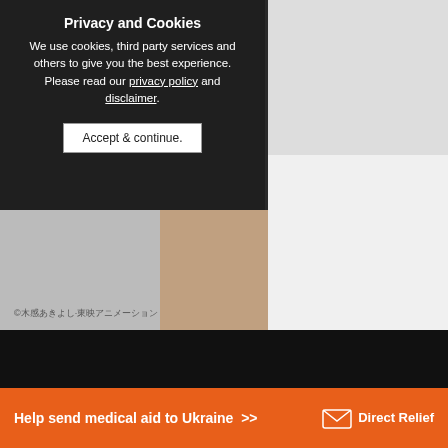[Figure (photo): Webpage screenshot showing toy action figures (anime/Digimon style) against a dark background, with a privacy and cookies consent overlay on the top-left, and a Direct Relief charity banner at the bottom.]
Privacy and Cookies
We use cookies, third party services and others to give you the best experience. Please read our privacy policy and disclaimer.
Accept & continue.
©木感あきよし·東映アニメーション
Help send medical aid to Ukraine >>
[Figure (logo): Direct Relief logo — envelope icon with 'Direct Relief' text in white]